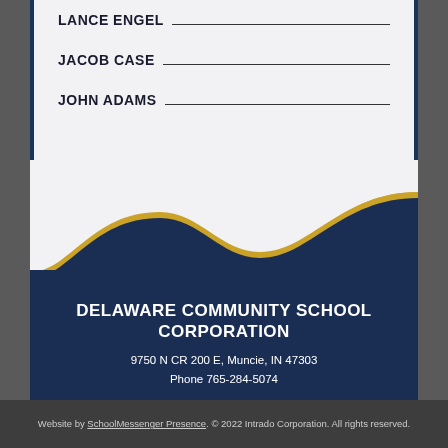LANCE ENGEL
JACOB CASE
JOHN ADAMS
[Figure (illustration): Decorative wave divider with gold and navy blue colors separating the white upper section from the dark navy lower section]
DELAWARE COMMUNITY SCHOOL CORPORATION
9750 N CR 200 E, Muncie, IN 47303
Phone 765-284-5074
Website by SchoolMessenger Presence. © 2022 Intrado Corporation. All rights reserved.